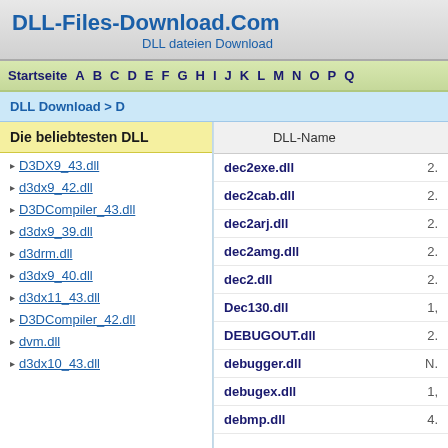DLL-Files-Download.Com
DLL dateien Download
Startseite A B C D E F G H I J K L M N O P Q
DLL Download > D
Die beliebtesten DLL
D3DX9_43.dll
d3dx9_42.dll
D3DCompiler_43.dll
d3dx9_39.dll
d3drm.dll
d3dx9_40.dll
d3dx11_43.dll
D3DCompiler_42.dll
dvm.dll
d3dx10_43.dll
| DLL-Name |  |
| --- | --- |
| dec2exe.dll | 2. |
| dec2cab.dll | 2. |
| dec2arj.dll | 2. |
| dec2amg.dll | 2. |
| dec2.dll | 2. |
| Dec130.dll | 1, |
| DEBUGOUT.dll | 2. |
| debugger.dll | N. |
| debugex.dll | 1, |
| debmp.dll | 4. |